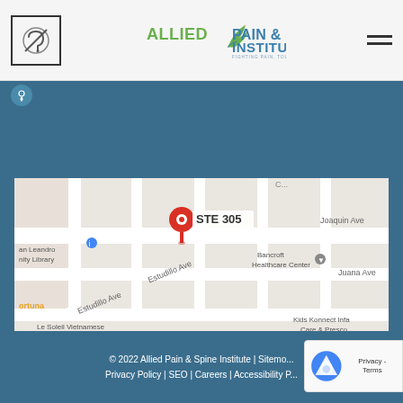[Figure (logo): Allied Pain & Spine Institute logo with tagline 'Fighting Pain. Touching Lives.']
[Figure (map): Google Maps screenshot showing location STE 305 near Estudillo Ave in San Leandro, with nearby landmarks: San Leandro Library, Bancroft Healthcare Center, Kids Konnect Infant Care & Preschool, Le Soleil Vietnamese Noodle & Grill]
© 2022 Allied Pain & Spine Institute | Sitemap | Privacy Policy | SEO | Careers | Accessibility P...